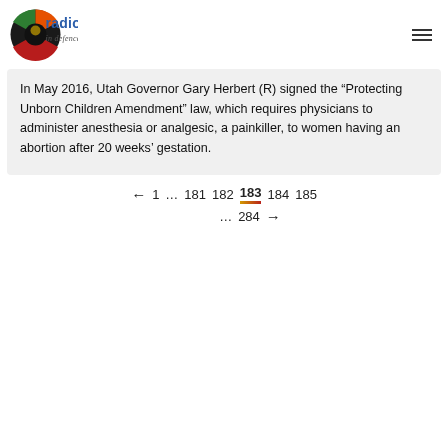radio biafra — in defence of freedom
In May 2016, Utah Governor Gary Herbert (R) signed the “Protecting Unborn Children Amendment” law, which requires physicians to administer anesthesia or analgesic, a painkiller, to women having an abortion after 20 weeks’ gestation.
← 1 ... 181 182 183 184 185 ... 284 →